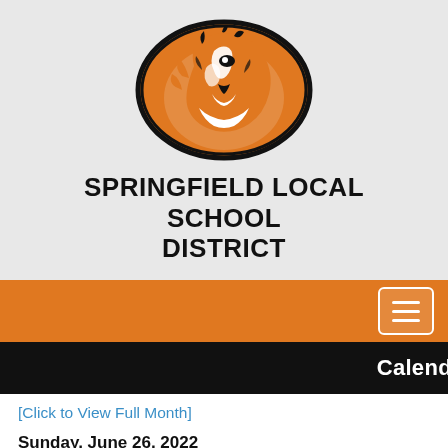[Figure (logo): Springfield Local School District tiger mascot logo — orange oval with black outline, tiger face graphic in orange, black, and white]
SPRINGFIELD LOCAL SCHOOL DISTRICT
[Figure (other): Orange navigation bar with hamburger menu button (three white lines in white-bordered rectangle) on right side]
Calendar
[Click to View Full Month]
Sunday, June 26, 2022
Monday, June 27, 2022
[ details ]    Success by 6
@ 8:00 AM – 12:00 PM